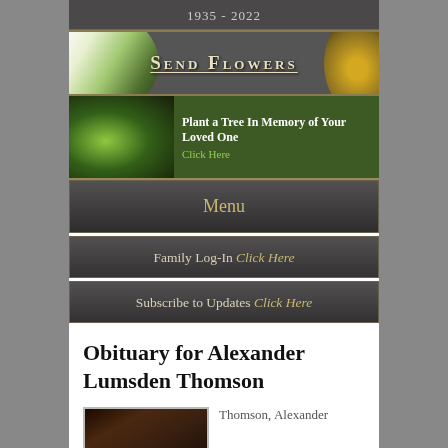1935 - 2022
[Figure (illustration): Send Flowers banner with white orchid flowers on left and golden circular decoration on right, dark gray background with gold border]
[Figure (illustration): Plant a Tree banner with seedling growing from soil on dark green bokeh background]
Plant a Tree In Memory of Your Loved One
Click Here
Menu
Family Log-In Click Here
Subscribe to Updates Click Here
Obituary for Alexander Lumsden Thomson
[Figure (photo): Portrait photo of Alexander Lumsden Thomson]
Thomson, Alexander